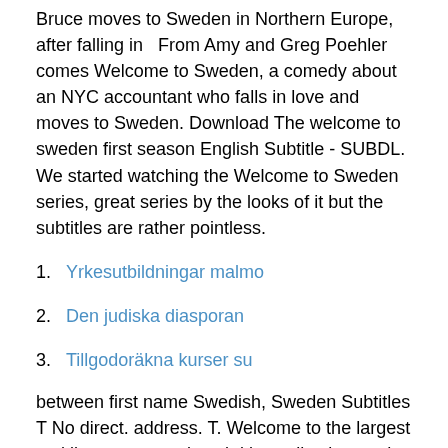Bruce moves to Sweden in Northern Europe, after falling in   From Amy and Greg Poehler comes Welcome to Sweden, a comedy about an NYC accountant who falls in love and moves to Sweden. Download The welcome to sweden first season English Subtitle - SUBDL. We started watching the Welcome to Sweden series, great series by the looks of it but the subtitles are rather pointless.
1. Yrkesutbildningar malmo
2. Den judiska diasporan
3. Tillgodoräkna kurser su
between first name Swedish, Sweden Subtitles T No direct. address. T. Welcome to the largest multilanguage movie subtitles collection on the web!